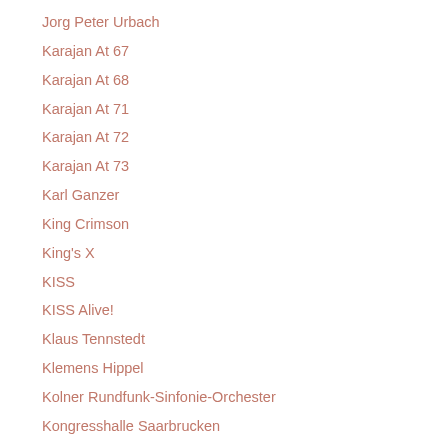Jorg Peter Urbach
Karajan At 67
Karajan At 68
Karajan At 71
Karajan At 72
Karajan At 73
Karl Ganzer
King Crimson
King's X
KISS
KISS Alive!
Klaus Tennstedt
Klemens Hippel
Kolner Rundfunk-Sinfonie-Orchester
Kongresshalle Saarbrucken